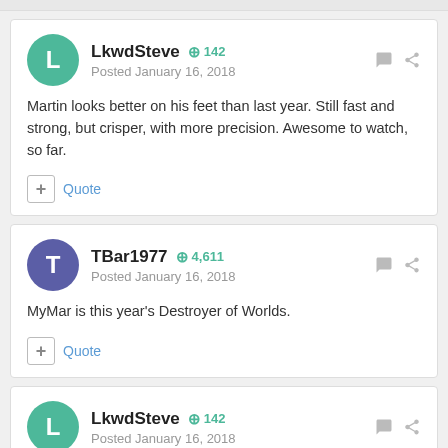LkwdSteve +142 Posted January 16, 2018
Martin looks better on his feet than last year. Still fast and strong, but crisper, with more precision. Awesome to watch, so far.
TBar1977 +4,611 Posted January 16, 2018
MyMar is this year's Destroyer of Worlds.
LkwdSteve +142 Posted January 16, 2018